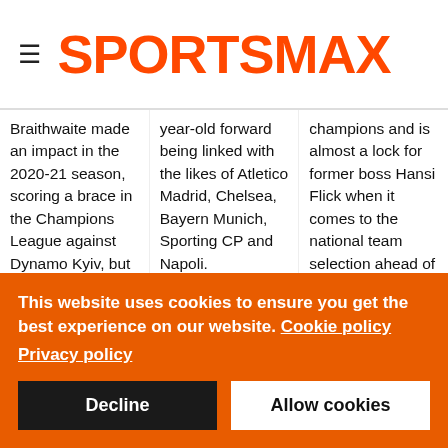SPORTSMAX
Braithwaite made an impact in the 2020-21 season, scoring a brace in the Champions League against Dynamo Kyiv, but an injury last term
year-old forward being linked with the likes of Atletico Madrid, Chelsea, Bayern Munich, Sporting CP and Napoli. Bayern sporting
champions and is almost a lock for former boss Hansi Flick when it comes to the national team selection ahead of the 2022 World Cup in Qatar.
This website uses cookies to ensure you get the best experience on our website. Cookie policy Privacy policy Decline Allow cookies